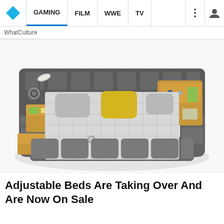GAMING | FILM | WWE | TV
WhatCulture
[Figure (photo): A large modern multi-functional bed with grey upholstered surround, integrated wooden shelving, speakers, reading lamp, drawers on the sides, and a grey checkered mattress with a yellow accent pillow. The bed has a sectional sofa-like frame with tufted padding.]
Adjustable Beds Are Taking Over And Are Now On Sale